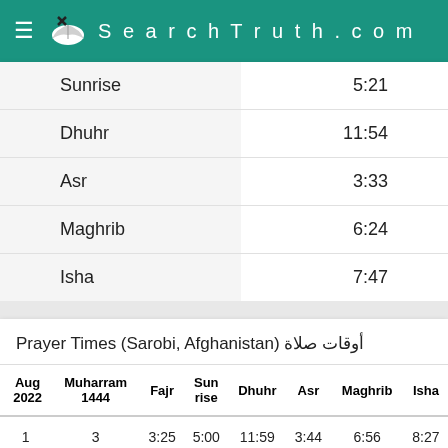SearchTruth.com
| Prayer | Time |
| --- | --- |
| Sunrise | 5:21 |
| Dhuhr | 11:54 |
| Asr | 3:33 |
| Maghrib | 6:24 |
| Isha | 7:47 |
Prayer Times (Sarobi, Afghanistan) أوقات صلاة
| Aug 2022 | Muharram 1444 | Fajr | Sunrise | Dhuhr | Asr | Maghrib | Isha |
| --- | --- | --- | --- | --- | --- | --- | --- |
| 1 | 3 | 3:25 | 5:00 | 11:59 | 3:44 | 6:56 | 8:27 |
| 2 | 4 | 3:26 | 5:01 | 11:59 | 3:44 | 6:56 | 8:26 |